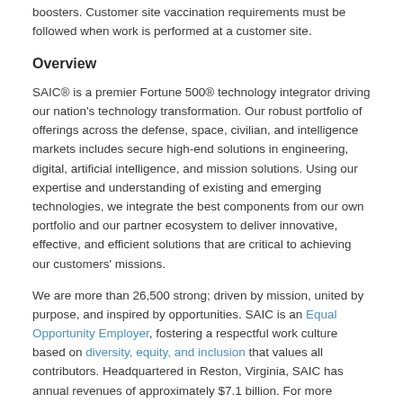boosters. Customer site vaccination requirements must be followed when work is performed at a customer site.
Overview
SAIC® is a premier Fortune 500® technology integrator driving our nation's technology transformation. Our robust portfolio of offerings across the defense, space, civilian, and intelligence markets includes secure high-end solutions in engineering, digital, artificial intelligence, and mission solutions. Using our expertise and understanding of existing and emerging technologies, we integrate the best components from our own portfolio and our partner ecosystem to deliver innovative, effective, and efficient solutions that are critical to achieving our customers' missions.
We are more than 26,500 strong; driven by mission, united by purpose, and inspired by opportunities. SAIC is an Equal Opportunity Employer, fostering a respectful work culture based on diversity, equity, and inclusion that values all contributors. Headquartered in Reston, Virginia, SAIC has annual revenues of approximately $7.1 billion. For more information, visit saic.com.